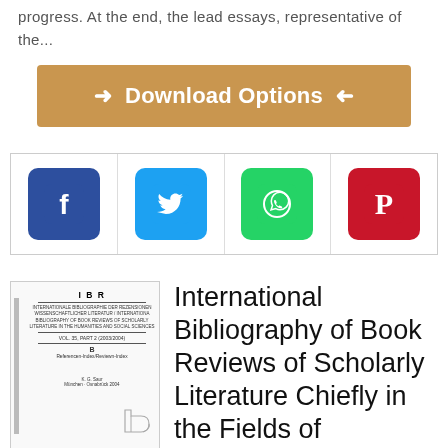progress. At the end, the lead essays, representative of the...
[Figure (other): Download Options button with gold/tan background and arrow icons on left and right]
[Figure (infographic): Social sharing bar with four icons: Facebook (blue), Twitter (light blue), WhatsApp (green), Pinterest (red)]
[Figure (other): Thumbnail of book cover: IBR International Bibliography of Book Reviews]
International Bibliography of Book Reviews of Scholarly Literature Chiefly in the Fields of